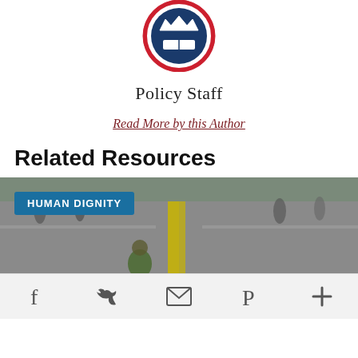[Figure (logo): Circular logo with crown and book, red/white/blue colors]
Policy Staff
Read More by this Author
Related Resources
[Figure (photo): Street scene photo with people on a road with yellow center line. Blue badge reading HUMAN DIGNITY overlaid.]
Social sharing icons: Facebook, Twitter, Email, Pinterest, More